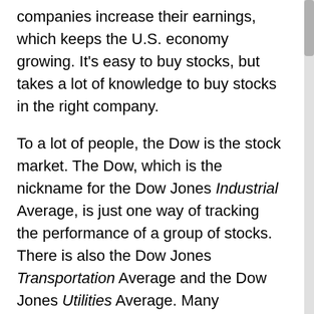companies increase their earnings, which keeps the U.S. economy growing. It's easy to buy stocks, but takes a lot of knowledge to buy stocks in the right company.
To a lot of people, the Dow is the stock market. The Dow, which is the nickname for the Dow Jones Industrial Average, is just one way of tracking the performance of a group of stocks. There is also the Dow Jones Transportation Average and the Dow Jones Utilities Average. Many investors ignore the Dow, and instead focus on the S&P 500 or other indices to track the progress of the stock market. The stocks that make up these averages are traded on the world's stock exchanges, two of which include the New York Stock Exchange and the NASDAQ.